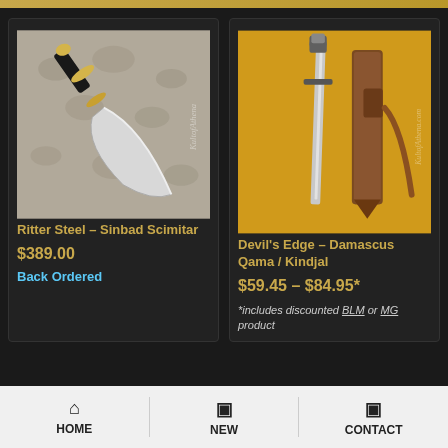[Figure (photo): Ritter Steel Sinbad Scimitar sword with black handle, gold guard, curved blade on decorative grey background with KultofAthena watermark]
Ritter Steel – Sinbad Scimitar
$389.00
Back Ordered
[Figure (photo): Devil's Edge Damascus Qama / Kindjal dagger with grey blade and brown leather sheath on yellow background with KultofAthena watermark]
Devil's Edge – Damascus Qama / Kindjal
$59.45 – $84.95*
*includes discounted BLM or MG product
HOME | NEW | CONTACT